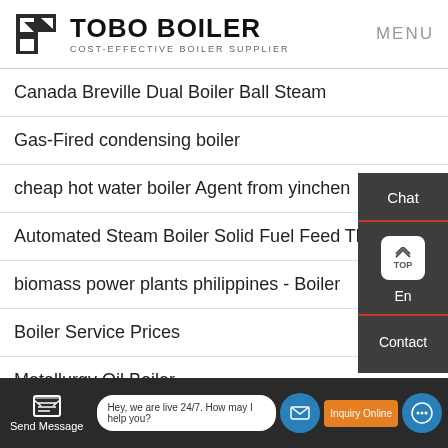TOBO BOILER - COST-EFFECTIVE BOILER SUPPLIER | MENU
Canada Breville Dual Boiler Ball Steam
Gas-Fired condensing boiler
cheap hot water boiler Agent from yinchen
Automated Steam Boiler Solid Fuel Feed The Beast
biomass power plants philippines - Boiler
Boiler Service Prices
Metallurgy Oil Boiler
Send Message | Hey, we are live 24/7. How may I help you? | Inquiry Online